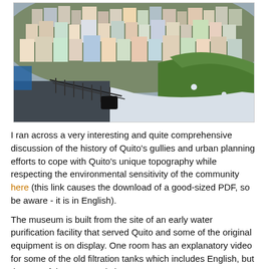[Figure (photo): Aerial/elevated view of a dense hillside neighborhood in Quito, Ecuador, with colorful buildings on a steep hill, and a building rooftop with green grass visible in the foreground right, and a walkway/ramp with metal railings in the lower left.]
I ran across a very interesting and quite comprehensive discussion of the history of Quito's gullies and urban planning efforts to cope with Quito's unique topography while respecting the environmental sensitivity of the community here (this link causes the download of a good-sized PDF, so be aware - it is in English).
The museum is built from the site of an early water purification facility that served Quito and some of the original equipment is on display. One room has an explanatory video for some of the old filtration tanks which includes English, but the rest of the museum is in